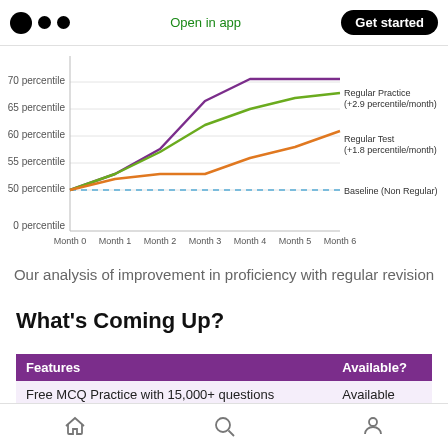Open in app | Get started
[Figure (line-chart): Percentile improvement over months]
Our analysis of improvement in proficiency with regular revision
What's Coming Up?
| Features | Available? |
| --- | --- |
| Free MCQ Practice with 15,000+ questions | Available |
| Daily Revision of mistakes in last 3 days | Available |
Home | Search | Profile